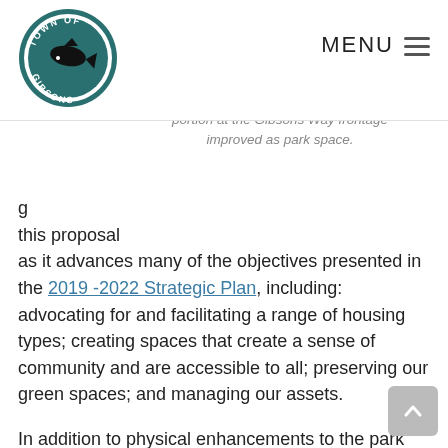TOWN OF GIBSONS — MENU
portion at the Gibsons Way frontage improved as park space.
this proposal as it advances many of the objectives presented in the 2019 -2022 Strategic Plan, including: advocating for and facilitating a range of housing types; creating spaces that create a sense of community and are accessible to all; preserving our green spaces; and managing our assets.
In addition to physical enhancements to the park space, the project will provide substantial financials benefits to the Town. These could be used to help fund affordable housing, future policing costs (which will rise significantly when Gibson's population officially reaches 5,000 people) or infrastructure needs.